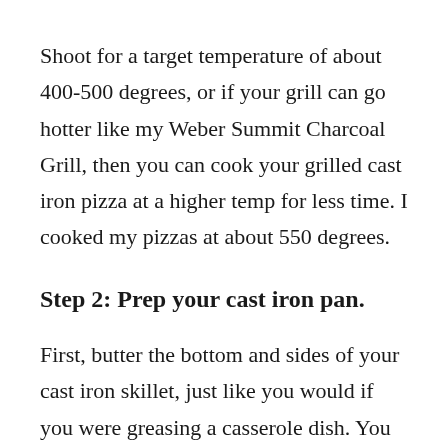Shoot for a target temperature of about 400-500 degrees, or if your grill can go hotter like my Weber Summit Charcoal Grill, then you can cook your grilled cast iron pizza at a higher temp for less time. I cooked my pizzas at about 550 degrees.
Step 2: Prep your cast iron pan.
First, butter the bottom and sides of your cast iron skillet, just like you would if you were greasing a casserole dish. You should have an even layer of butter all over your skillet. If you